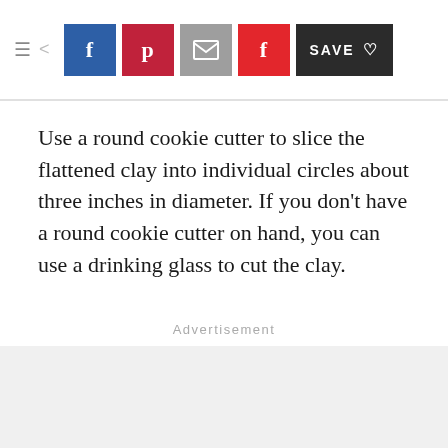Navigation bar with hamburger menu, back arrow, Facebook, Pinterest, Email, Flipboard social share buttons, and SAVE button
Use a round cookie cutter to slice the flattened clay into individual circles about three inches in diameter. If you don't have a round cookie cutter on hand, you can use a drinking glass to cut the clay.
Advertisement